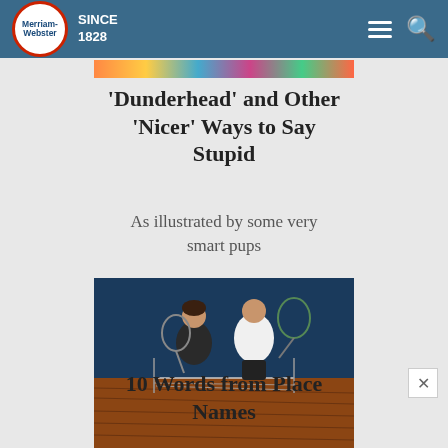Merriam-Webster SINCE 1828
[Figure (photo): Colorful top banner image strip]
'Dunderhead' and Other 'Nicer' Ways to Say Stupid
As illustrated by some very smart pups
[Figure (photo): Two people on a badminton court holding rackets]
10 Words from Place Names